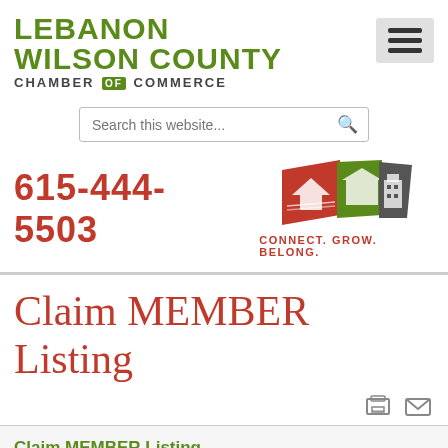[Figure (logo): Lebanon Wilson County Chamber of Commerce text logo in green with a hamburger menu icon on the right]
[Figure (other): Search bar with placeholder text 'Search this website...' and a search icon]
615-444-5503
[Figure (logo): Chamber of Commerce brand logo with three colored panels (red, green, gray) with icons and tagline CONNECT. GROW. BELONG.]
Claim MEMBER Listing
Claim MEMBER Listing
Register